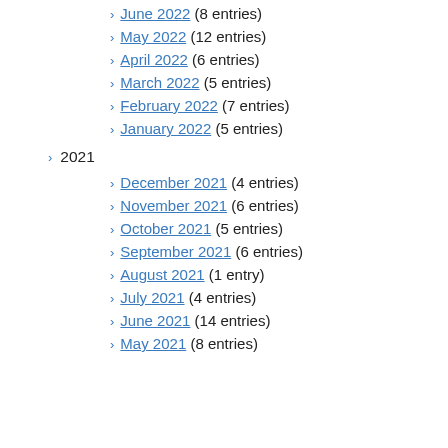June 2022 (8 entries)
May 2022 (12 entries)
April 2022 (6 entries)
March 2022 (5 entries)
February 2022 (7 entries)
January 2022 (5 entries)
2021
December 2021 (4 entries)
November 2021 (6 entries)
October 2021 (5 entries)
September 2021 (6 entries)
August 2021 (1 entry)
July 2021 (4 entries)
June 2021 (14 entries)
May 2021 (8 entries)